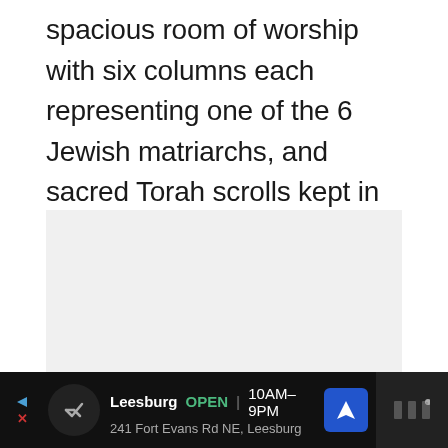spacious room of worship with six columns each representing one of the 6 Jewish matriarchs, and sacred Torah scrolls kept in a wooden cupboard.
[Figure (photo): A large light gray placeholder image area representing a photo of the worship room interior.]
Leesburg OPEN 10AM–9PM 241 Fort Evans Rd NE, Leesburg